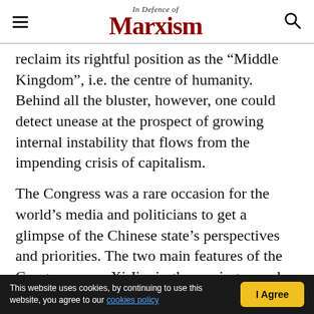In Defence of Marxism
reclaim its rightful position as the "Middle Kingdom", i.e. the centre of humanity. Behind all the bluster, however, one could detect unease at the prospect of growing internal instability that flows from the impending crisis of capitalism.
The Congress was a rare occasion for the world’s media and politicians to get a glimpse of the Chinese state’s perspectives and priorities. The two main features of the Congress were Xi Jinping’s opening speech and the announcement of the new Politburo Standing Committee, the leading body in the Chinese state.
This website uses cookies, by continuing to use this website, you agree to our cookies policy | I Agree